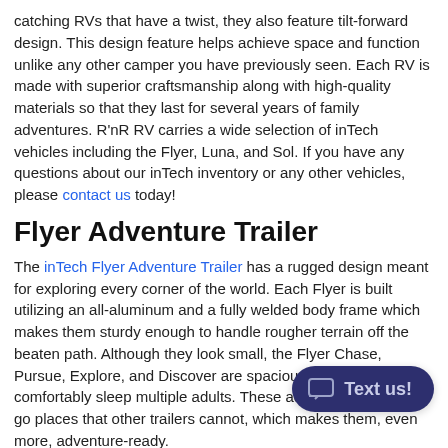catching RVs that have a twist, they also feature tilt-forward design. This design feature helps achieve space and function unlike any other camper you have previously seen. Each RV is made with superior craftsmanship along with high-quality materials so that they last for several years of family adventures. R'nR RV carries a wide selection of inTech vehicles including the Flyer, Luna, and Sol. If you have any questions about our inTech inventory or any other vehicles, please contact us today!
Flyer Adventure Trailer
The inTech Flyer Adventure Trailer has a rugged design meant for exploring every corner of the world. Each Flyer is built utilizing an all-aluminum and a fully welded body frame which makes them sturdy enough to handle rougher terrain off the beaten path. Although they look small, the Flyer Chase, Pursue, Explore, and Discover are spacious and can comfortably sleep multiple adults. These adventure trailers can go places that other trailers cannot, which makes them, even more, adventure-ready.
Luna Teardrop Trailer